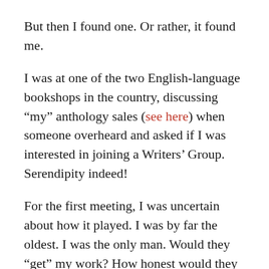But then I found one. Or rather, it found me.
I was at one of the two English-language bookshops in the country, discussing “my” anthology sales (see here) when someone overheard and asked if I was interested in joining a Writers’ Group. Serendipity indeed!
For the first meeting, I was uncertain about how it played. I was by far the oldest. I was the only man. Would they “get” my work? How honest would they be? How honest could I – should I – be? Especially in genres I never read – autobiography, modern romance, YA science fiction and non-scifi short stories.
But I was made welcome at my first meeting and we